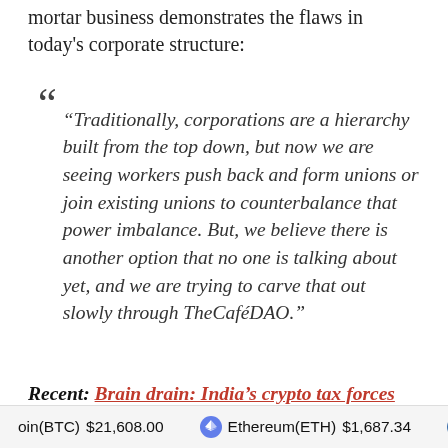mortar business demonstrates the flaws in today's corporate structure:
“Traditionally, corporations are a hierarchy built from the top down, but now we are seeing workers push back and form unions or join existing unions to counterbalance that power imbalance. But, we believe there is another option that no one is talking about yet, and we are trying to carve that out slowly through TheCaféDAO.”
Recent: Brain drain: India’s crypto tax forces budding crypto projects to move
Bitcoin(BTC) $21,608.00   Ethereum(ETH) $1,687.34   XRP(XRP)